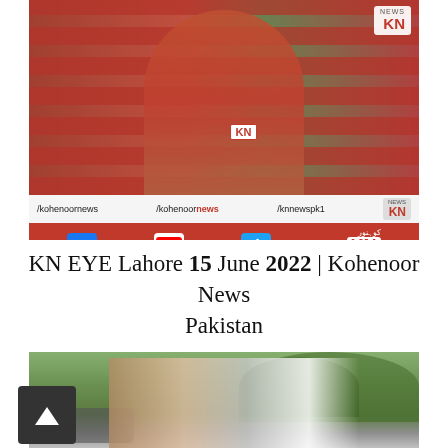[Figure (screenshot): TV news screenshot of a female reporter holding a KN microphone standing in front of shelves stocked with snack products. Lower bar shows social media handles: /kohenoornews, /kohenoor news, /knnewspk1, and KN News logo. A red bar below shows Facebook, YouTube, and Twitter icons and www.kohenoor.tv.]
KN EYE Lahore 15 June 2022 | Kohenoor News Pakistan
[Figure (photo): Outdoor photo showing a group of people standing near a car with trees in the background.]